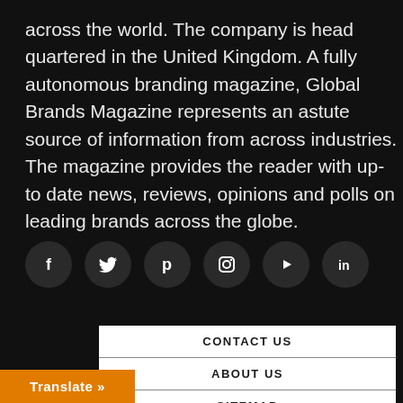across the world. The company is head quartered in the United Kingdom. A fully autonomous branding magazine, Global Brands Magazine represents an astute source of information from across industries. The magazine provides the reader with up- to date news, reviews, opinions and polls on leading brands across the globe.
[Figure (infographic): Row of 6 social media icons (circular dark buttons): Facebook (f), Twitter (bird), Pinterest (p), Instagram (camera/circle), YouTube (play button), LinkedIn (in)]
CONTACT US
ABOUT US
SITEMAP
PRIVACY & COOKIES
TERMS AND CONDITIONS
Translate »